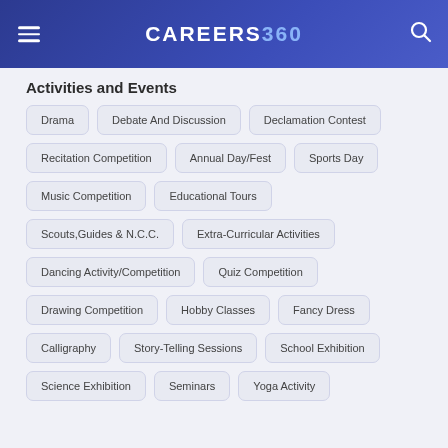CAREERS360
Activities and Events
Drama
Debate And Discussion
Declamation Contest
Recitation Competition
Annual Day/Fest
Sports Day
Music Competition
Educational Tours
Scouts,Guides & N.C.C.
Extra-Curricular Activities
Dancing Activity/Competition
Quiz Competition
Drawing Competition
Hobby Classes
Fancy Dress
Calligraphy
Story-Telling Sessions
School Exhibition
Science Exhibition
Seminars
Yoga Activity